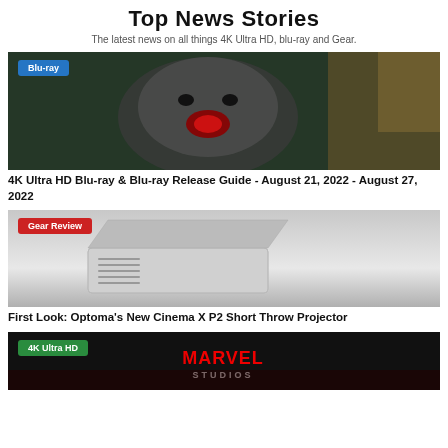Top News Stories
The latest news on all things 4K Ultra HD, blu-ray and Gear.
[Figure (photo): A snarling wolf-like creature with mouth open, dark background, with a blue 'Blu-ray' badge overlay.]
4K Ultra HD Blu-ray & Blu-ray Release Guide - August 21, 2022 - August 27, 2022
[Figure (photo): A silver short throw projector on a gray gradient background, with a red 'Gear Review' badge overlay.]
First Look: Optoma's New Cinema X P2 Short Throw Projector
[Figure (photo): Bottom card showing a green '4K Ultra HD' badge and Marvel Studios logo on dark background.]